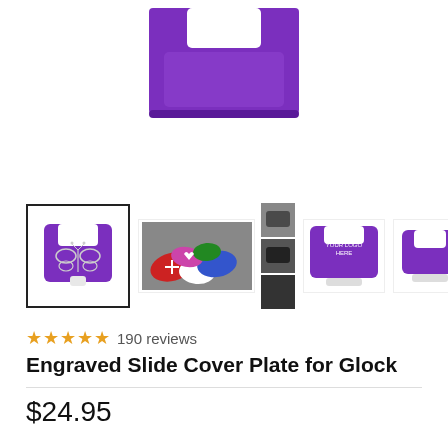[Figure (photo): Main product image: purple engraved slide cover plate for Glock, shown close-up from above against white background]
[Figure (photo): Thumbnail row: 4 product thumbnails - 1st selected showing purple plate with butterfly engraving, 2nd showing multiple colored plates, 3rd showing purple plate with 'YOUR LOGO HERE', 4th showing plain purple plate]
190 reviews
Engraved Slide Cover Plate for Glock
$24.95